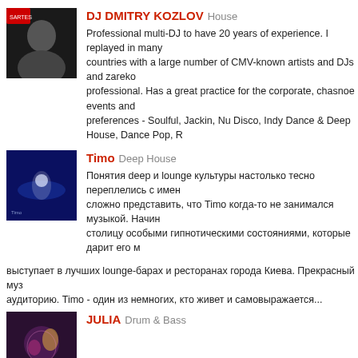[Figure (photo): DJ Dmitry Kozlov profile photo - dark background, man in black]
DJ DMITRY KOZLOV House
Professional multi-DJ to have 20 years of experience. I replayed in many countries with a large number of CMV-known artists and DJs and zareko professional. Has a great practice for the corporate, chasnoe events and preferences - Soulful, Jackin, Nu Disco, Indy Dance & Deep House, Dance Pop, R
[Figure (photo): Timo profile photo - blue stage lighting]
Timo Deep House
Понятия deep и lounge культуры настолько тесно переплелись с имен сложно представить, что Timo когда-то не занимался музыкой. Начин столицу особыми гипнотическими состояниями, которые дарит его м выступает в лучших lounge-барах и ресторанах города Киева. Прекрасный муз аудиторию. Timo - один из немногих, кто живет и самовыражается...
[Figure (photo): JULIA profile photo - colorful artistic photo]
JULIA Drum & Bass
Tony Igy Experimental
Anton Igumnov known to the public as the project's creator Tony Igy. The Astronomia, hit, who blew the Russian Internet space, and eventually gai was born on June 6, 1985, in Russia, Kamensk - Shakhtinsky, Rostov reg
GASA & Deep Sunset
Andrey Malinov Chillout